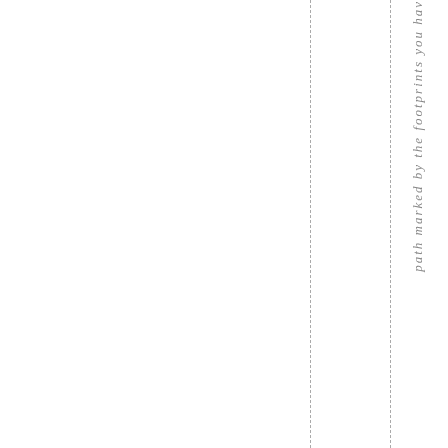path marked by the footprints you ha v